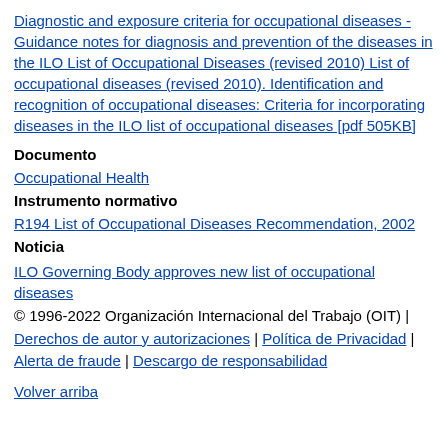Diagnostic and exposure criteria for occupational diseases - Guidance notes for diagnosis and prevention of the diseases in the ILO List of Occupational Diseases (revised 2010) List of occupational diseases (revised 2010). Identification and recognition of occupational diseases: Criteria for incorporating diseases in the ILO list of occupational diseases [pdf 505KB]
Documento
Occupational Health
Instrumento normativo
R194 List of Occupational Diseases Recommendation, 2002
Noticia
ILO Governing Body approves new list of occupational diseases
© 1996-2022 Organización Internacional del Trabajo (OIT) | Derechos de autor y autorizaciones | Política de Privacidad | Alerta de fraude | Descargo de responsabilidad
Volver arriba